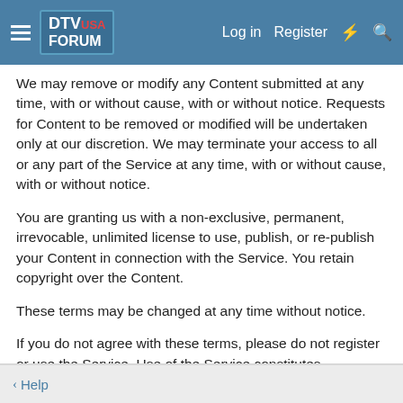DTV USA FORUM — Log in | Register
We may remove or modify any Content submitted at any time, with or without cause, with or without notice. Requests for Content to be removed or modified will be undertaken only at our discretion. We may terminate your access to all or any part of the Service at any time, with or without cause, with or without notice.
You are granting us with a non-exclusive, permanent, irrevocable, unlimited license to use, publish, or re-publish your Content in connection with the Service. You retain copyright over the Content.
These terms may be changed at any time without notice.
If you do not agree with these terms, please do not register or use the Service. Use of the Service constitutes acceptance of these terms. If you wish to close your account, please contact us.
Help